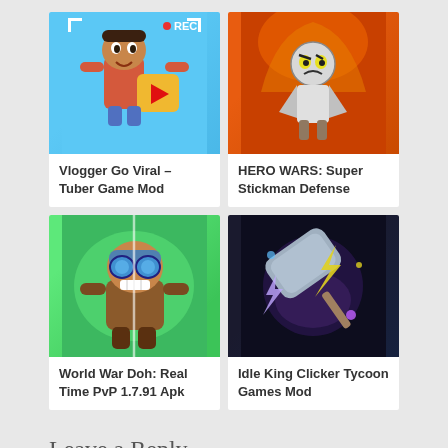[Figure (screenshot): Vlogger Go Viral – Tuber Game Mod app icon: cartoon character with REC symbol and YouTube play button]
Vlogger Go Viral – Tuber Game Mod
[Figure (screenshot): HERO WARS: Super Stickman Defense app icon: stickman warrior on fire background]
HERO WARS: Super Stickman Defense
[Figure (screenshot): World War Doh: Real Time PvP 1.7.91 Apk app icon: cartoon soldier character]
World War Doh: Real Time PvP 1.7.91 Apk
[Figure (screenshot): Idle King Clicker Tycoon Games Mod app icon: hammer with lightning effect on dark background]
Idle King Clicker Tycoon Games Mod
Leave a Reply